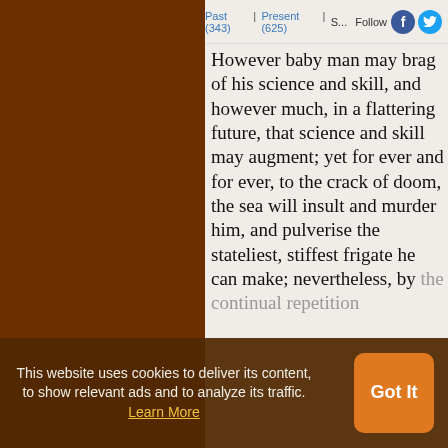Past (343) | Present (625) | S... Follow
However baby man may brag of his science and skill, and however much, in a flattering future, that science and skill may augment; yet for ever and for ever, to the crack of doom, the sea will insult and murder him, and pulverise the stateliest, stiffest frigate he can make; nevertheless, by the continual repetition ... man has ... sense of the full awfulness of the sea
This website uses cookies to deliver its content, to show relevant ads and to analyze its traffic. Learn More